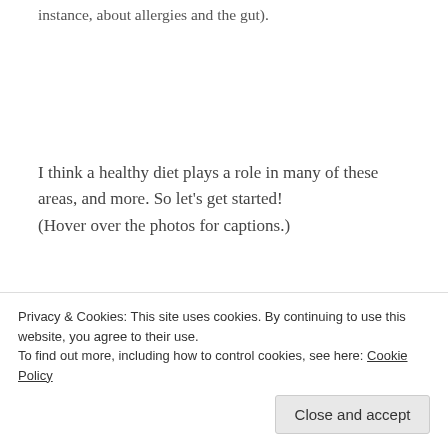instance, about allergies and the gut).
I think a healthy diet plays a role in many of these areas, and more. So let’s get started!
(Hover over the photos for captions.)
[Figure (photo): Three food/garden photos side by side: left shows apples and flowers on a striped tablecloth, middle shows small clay pots on a light background, right shows green chives/scallions held over soil.]
Privacy & Cookies: This site uses cookies. By continuing to use this website, you agree to their use.
To find out more, including how to control cookies, see here: Cookie Policy
Close and accept